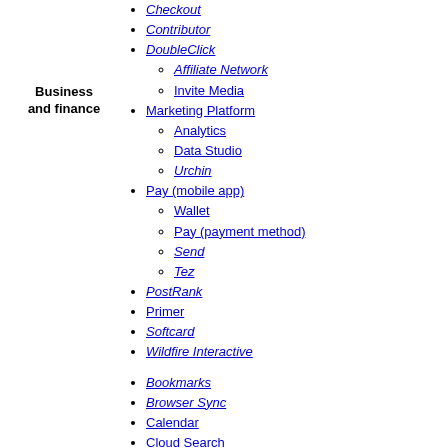Business and finance
Checkout
Contributor
DoubleClick
Affiliate Network
Invite Media
Marketing Platform
Analytics
Data Studio
Urchin
Pay (mobile app)
Wallet
Pay (payment method)
Send
Tez
PostRank
Primer
Softcard
Wildfire Interactive
Bookmarks
Browser Sync
Calendar
Cloud Search
Desktop
Docs Editors
Docs